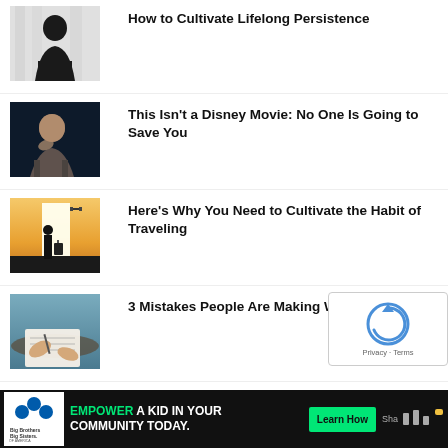[Figure (photo): Silhouette of a person from behind against a light background]
How to Cultivate Lifelong Persistence
[Figure (photo): Young man with hand on chin in dark blue lighting]
This Isn't a Disney Movie: No One Is Going to Save You
[Figure (photo): Silhouette of a traveler with suitcase standing at a bright doorway with a drone in the sky]
Here's Why You Need to Cultivate the Habit of Traveling
[Figure (photo): Hands writing on paper with a notebook on a table]
3 Mistakes People Are Making When Goals
[Figure (photo): Partial image of article thumbnail]
The Hidden Secret All Successful People
[Figure (screenshot): Advertisement banner: Empower a Kid in Your Community Today - Big Brothers Big Sisters of America]
[Figure (other): reCAPTCHA widget overlay showing refresh icon with Privacy and Terms text]